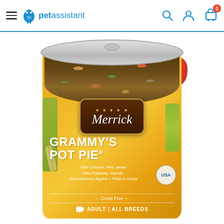petassistant — navigation header with hamburger menu, search, account, and cart icons
[Figure (photo): Merrick Grammy's Pot Pie canned dog food product image. An orange-labeled cylindrical can with a silver lid and pull tab. The label features the Merrick brand name in a brown badge with stars, large text reading 'GRAMMY'S POT PIE', subtitle 'With Chicken, Red Jacket New Potatoes, Carrots, Red Delicious Apples + Peas in Gravy', 'Grain Free', and 'ADULT | ALL BREEDS'. The can is decorated with images of vegetables including peas and carrots. A USA badge appears on the right side of the can.]